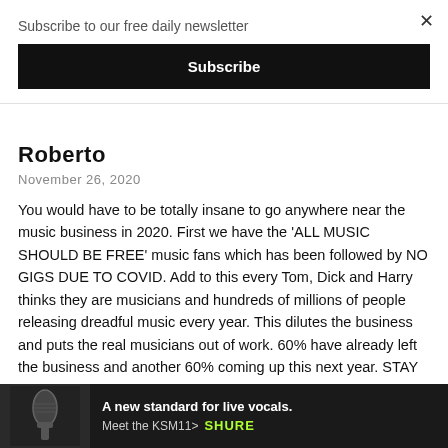×
Subscribe to our free daily newsletter
Subscribe
Roberto
November 26, 2020
You would have to be totally insane to go anywhere near the music business in 2020. First we have the 'ALL MUSIC SHOULD BE FREE' music fans which has been followed by NO GIGS DUE TO COVID. Add to this every Tom, Dick and Harry thinks they are musicians and hundreds of millions of people releasing dreadful music every year. This dilutes the business and puts the real musicians out of work. 60% have already left the business and another 60% coming up this next year. STAY AWAY from the music business unless you want a life of extreme poverty
×
[Figure (other): Advertisement banner: microphone image on left with dark background, text 'A new standard for live vocals. Meet the KSM11>' and SHURE logo in green on right]